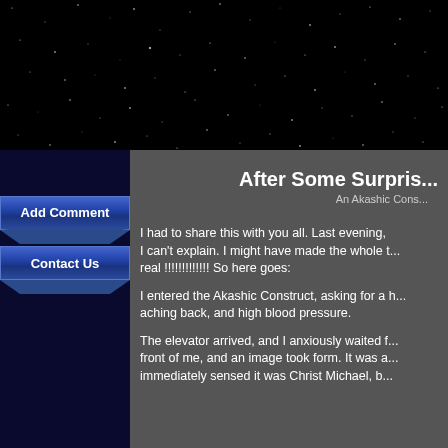[Figure (photo): Starfield / night sky header image — black background with scattered white star dots]
After Some Surpris...
An Akashic Cons...
Add Comment
Contact Us
I had to share this with you all. Last evening, I can't explain. I might have made the whole t... real !!!!!!!!!!!!! So here goes:
I entered the Akashic Construct, asking for a h... aching back, and high blood pressure.
The elevator arrived, and I anxiously waited f... front of me, and an image took form. It was a... immediately sensed it was Christ Michael, b...